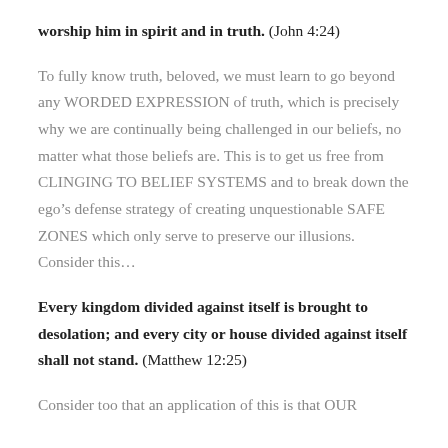worship him in spirit and in truth. (John 4:24)
To fully know truth, beloved, we must learn to go beyond any WORDED EXPRESSION of truth, which is precisely why we are continually being challenged in our beliefs, no matter what those beliefs are. This is to get us free from CLINGING TO BELIEF SYSTEMS and to break down the ego’s defense strategy of creating unquestionable SAFE ZONES which only serve to preserve our illusions. Consider this…
Every kingdom divided against itself is brought to desolation; and every city or house divided against itself shall not stand. (Matthew 12:25)
Consider too that an application of this is that OUR